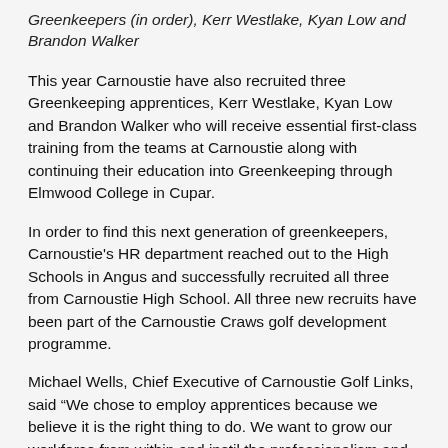Greenkeepers (in order), Kerr Westlake, Kyan Low and Brandon Walker
This year Carnoustie have also recruited three Greenkeeping apprentices, Kerr Westlake, Kyan Low and Brandon Walker who will receive essential first-class training from the teams at Carnoustie along with continuing their education into Greenkeeping through Elmwood College in Cupar.
In order to find this next generation of greenkeepers, Carnoustie's HR department reached out to the High Schools in Angus and successfully recruited all three from Carnoustie High School. All three new recruits have been part of the Carnoustie Craws golf development programme.
Michael Wells, Chief Executive of Carnoustie Golf Links, said “We chose to employ apprentices because we believe it is the right thing to do. We want to grow our workforce from within and instil the professionalism and expertise that we have within our current team. As the town’s largest